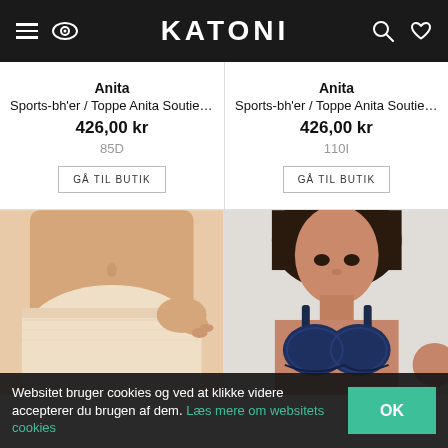KATONI
Anita
Sports-bh'er / Toppe Anita Soutien-...
426,00 kr
85D
Anita
Sports-bh'er / Toppe Anita Soutien-...
426,00 kr
110I
[Figure (photo): Close-up of a woman wearing beige lace high-waist underwear]
[Figure (photo): Woman wearing a navy blue lace bra]
Websitet bruger cookies og ved at klikke videre accepterer du brugen af dem. Læs mere om websitets cookies